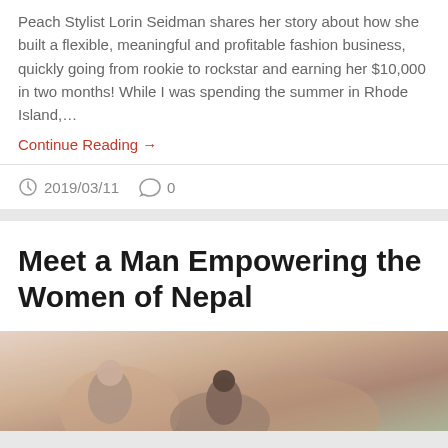Peach Stylist Lorin Seidman shares her story about how she built a flexible, meaningful and profitable fashion business, quickly going from rookie to rockstar and earning her $10,000 in two months! While I was spending the summer in Rhode Island,…
Continue Reading →
2019/03/11   0
Meet a Man Empowering the Women of Nepal
[Figure (photo): Partially visible photo of people, blurred background with warm tones, appears to show individuals outdoors]